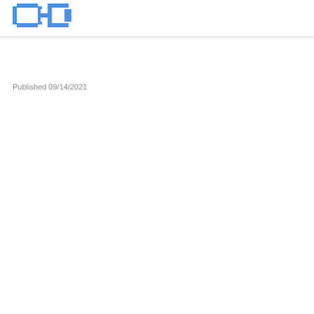[Figure (logo): Blue pixel-art style eyeglasses logo]
Published 09/14/2021